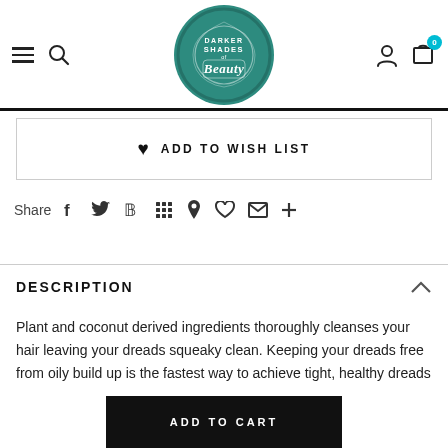Darker Shades of Beauty - navigation header with hamburger menu, search, logo, user and cart icons
♥  ADD TO WISH LIST
Share  f  𝕥  𝗽  ⣿  ❧  ♥  ✉  +
DESCRIPTION
Plant and coconut derived ingredients thoroughly cleanses your hair leaving your dreads squeaky clean. Keeping your dreads free from oily build up is the fastest way to achieve tight, healthy dreads